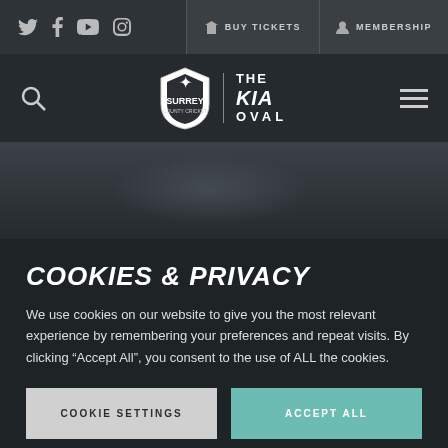Twitter Facebook YouTube Instagram | BUY TICKETS | MEMBERSHIP
[Figure (logo): Surrey County Cricket Club logo with shield and 'The Kia Oval' text]
[Figure (photo): Dark hero banner area with blurred background]
COOKIES & PRIVACY
We use cookies on our website to give you the most relevant experience by remembering your preferences and repeat visits. By clicking “Accept All”, you consent to the use of ALL the cookies.
COOKIE SETTINGS | ACCEPT ALL